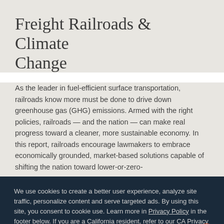Freight Railroads & Climate Change
As the leader in fuel-efficient surface transportation, railroads know more must be done to drive down greenhouse gas (GHG) emissions. Armed with the right policies, railroads — and the nation — can make real progress toward a cleaner, more sustainable economy. In this report, railroads encourage lawmakers to embrace economically grounded, market-based solutions capable of shifting the nation toward lower-or-zero-
We use cookies to create a better user experience, analyze site traffic, personalize content and serve targeted ads. By using this site, you consent to cookie use. Learn more in Privacy Policy in the footer below. If you are a California resident, refer to our CA Privacy Notice, which explains your CA privacy rights and how you can exercise them.
ACCEPT